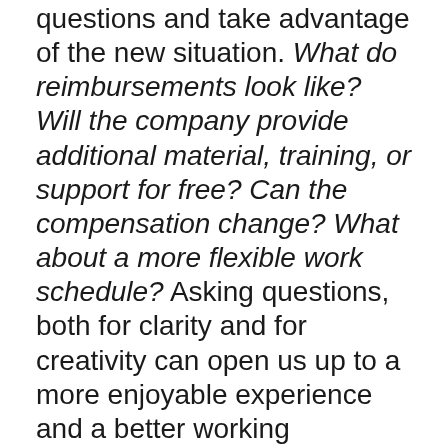questions and take advantage of the new situation. What do reimbursements look like? Will the company provide additional material, training, or support for free? Can the compensation change? What about a more flexible work schedule? Asking questions, both for clarity and for creativity can open us up to a more enjoyable experience and a better working environment. It might even allow you to keep the best parts of working from home after quarantine ends.
Posted in Building With Purpose, Business    Tagged Building With Purpose,